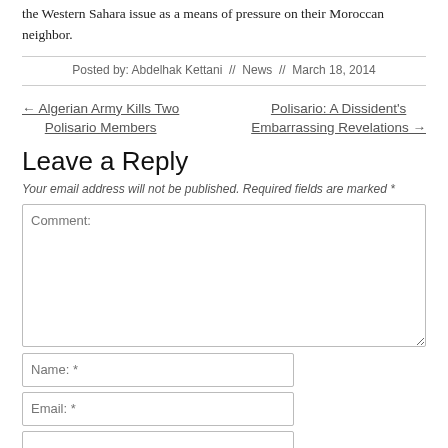the Western Sahara issue as a means of pressure on their Moroccan neighbor.
Posted by: Abdelhak Kettani // News // March 18, 2014
← Algerian Army Kills Two Polisario Members
Polisario: A Dissident's Embarrassing Revelations →
Leave a Reply
Your email address will not be published. Required fields are marked *
Comment:
Name: *
Email: *